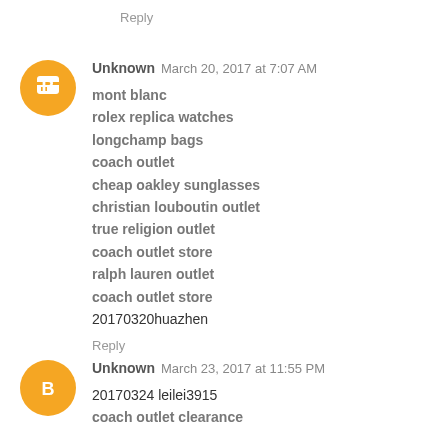Reply
Unknown  March 20, 2017 at 7:07 AM
mont blanc
rolex replica watches
longchamp bags
coach outlet
cheap oakley sunglasses
christian louboutin outlet
true religion outlet
coach outlet store
ralph lauren outlet
coach outlet store
20170320huazhen
Reply
Unknown  March 23, 2017 at 11:55 PM
20170324 leilei3915
coach outlet clearance